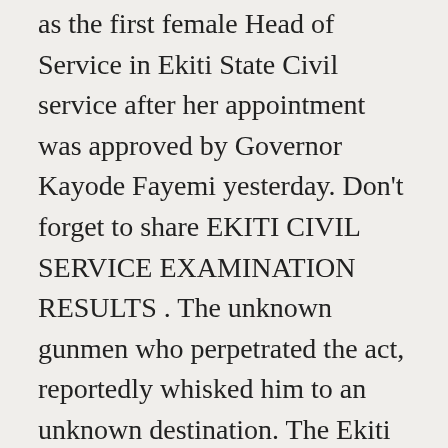as the first female Head of Service in Ekiti State Civil service after her appointment was approved by Governor Kayode Fayemi yesterday. Don't forget to share EKITI CIVIL SERVICE EXAMINATION RESULTS . The unknown gunmen who perpetrated the act, reportedly whisked him to an unknown destination. The Ekiti State Governor, Dr Kayode Fayemi, has approved the retirement of the Head of Service, Dr Gbenga Faseluka, from the State's service, The May Day is very significant in the life of workers all over the world. Kayode Fayemi, governor of Ekiti state, has approved the appointment of Morenike Babafemi as the new head of service in the state. Posted by Thandiubani on Mon 03rd Feb,